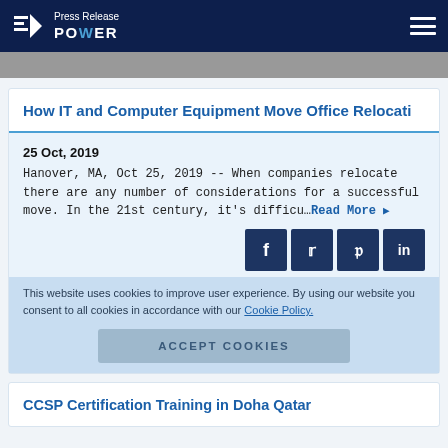Press Release POWER
[Figure (photo): Partial image strip at top of page content area]
How IT and Computer Equipment Move Office Relocati
25 Oct, 2019
Hanover, MA, Oct 25, 2019 -- When companies relocate there are any number of considerations for a successful move. In the 21st century, it's difficu…Read More ▶
This website uses cookies to improve user experience. By using our website you consent to all cookies in accordance with our Cookie Policy.
CCSP Certification Training in Doha Qatar